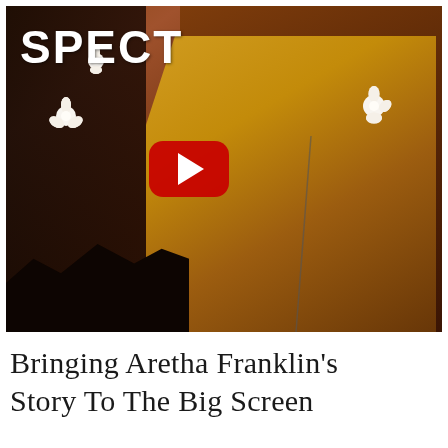[Figure (photo): YouTube video thumbnail showing a woman (Jennifer Hudson as Aretha Franklin) in a gold sequined outfit singing into a microphone on stage, with white flowers floating, on a warm brown/amber lit stage. The YouTube red play button is overlaid in the center. Partial text 'SPECT' visible in white top-left (part of 'RESPECT' movie title).]
Bringing Aretha Franklin's Story To The Big Screen